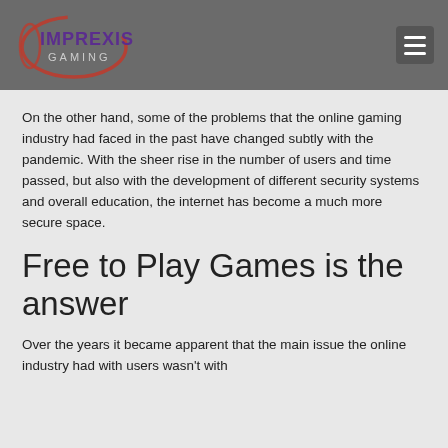Imprexis Gaming
On the other hand, some of the problems that the online gaming industry had faced in the past have changed subtly with the pandemic. With the sheer rise in the number of users and time passed, but also with the development of different security systems and overall education, the internet has become a much more secure space.
Free to Play Games is the answer
Over the years it became apparent that the main issue the online industry had with users wasn't with